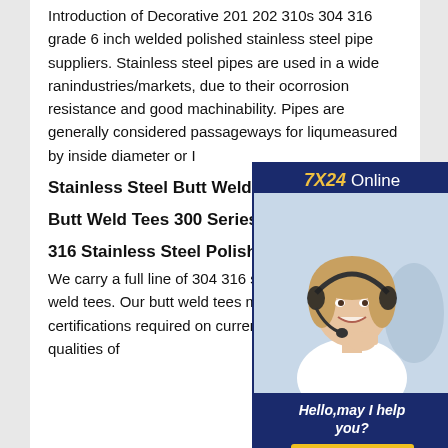Introduction of Decorative 201 202 310s 304 316 grade 6 inch welded polished stainless steel pipe suppliers. Stainless steel pipes are used in a wide range of industries/markets, due to their outstanding corrosion resistance and good machinability. Pipes are generally considered passageways for liquids, measured by inside diameter or I...
[Figure (infographic): Customer service chat widget overlay with '7X24 Online' header in yellow and white text on dark navy background, a photo of a smiling woman with headset, 'Hello, may I help you?' italic text, and a yellow 'Get Latest Price' button.]
Stainless Steel Butt Weld Tees S...
Butt Weld Tees 300 Series Inox ...
316 Stainless Steel Polished Welded Pipe
We carry a full line of 304 316 stainless steel butt weld tees. Our butt weld tees meet strict certifications required on current piping systems with qualities of